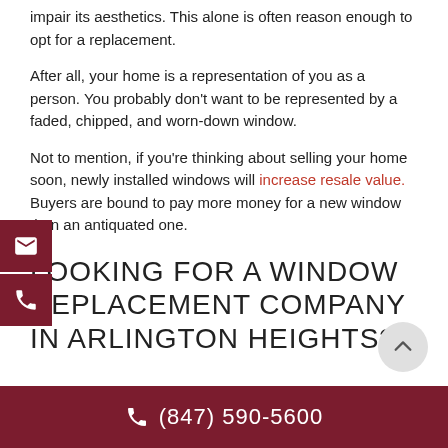impair its aesthetics. This alone is often reason enough to opt for a replacement.
After all, your home is a representation of you as a person. You probably don't want to be represented by a faded, chipped, and worn-down window.
Not to mention, if you're thinking about selling your home soon, newly installed windows will increase resale value. Buyers are bound to pay more money for a new window than an antiquated one.
LOOKING FOR A WINDOW REPLACEMENT COMPANY IN ARLINGTON HEIGHTS?
(847) 590-5600